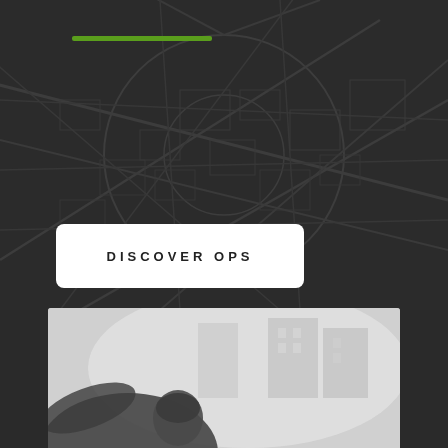[Figure (map): Dark street map background showing city roads and blocks in dark gray tones]
DISCOVER OPS
[Figure (photo): Black and white photo of a person in action, appears to be a combat or tactical scene with buildings in the background]